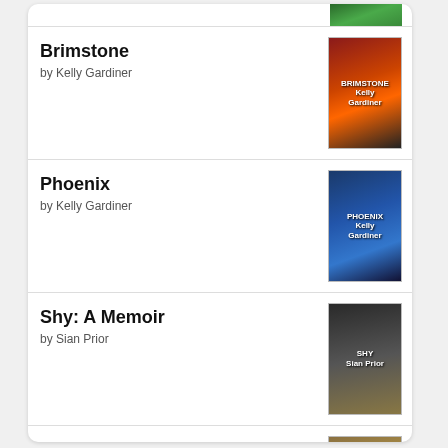Brimstone by Kelly Gardiner
Phoenix by Kelly Gardiner
Shy: A Memoir by Sian Prior
Kings Rising by C.S. Pacat
[Figure (logo): Goodreads logo button with rounded rectangle border]